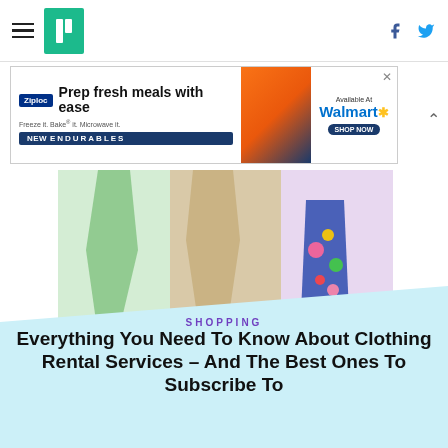HuffPost navigation bar with hamburger menu, logo, Facebook and Twitter icons
[Figure (screenshot): Ziploc advertisement banner: Prep fresh meals with ease – Freeze it. Bake it. Microwave it. NEW ENDURABLES. Available at Walmart.]
[Figure (photo): Photo of three women's clothing items: green dress, beige outfit, floral pants on light purple/beige backgrounds]
SHOPPING
Everything You Need To Know About Clothing Rental Services – And The Best Ones To Subscribe To
[Figure (photo): Partial photo of a woman with dark hair in a bun, looking thoughtful]